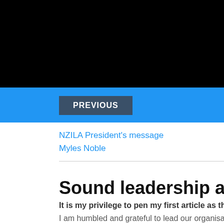[Figure (photo): Black banner at top of page]
PREVIOUS
NZILA President's message
Myles Noble
Sound leadership aided NZILA
It is my privilege to pen my first article as the new NZILA pr
I am humbled and grateful to lead our organisation which is, sim